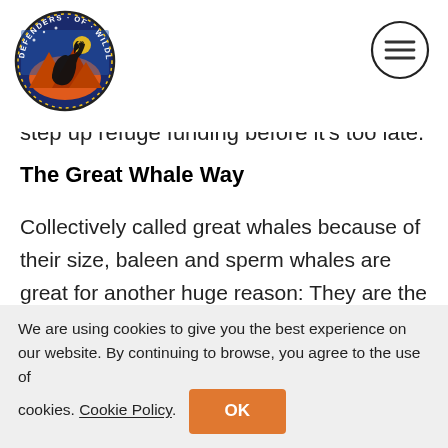[Figure (logo): Defenders of Wildlife circular logo with wolf silhouette and text around the border]
[Figure (other): Hamburger menu icon (three horizontal lines in a circle)]
step up refuge funding before it's too late.
The Great Whale Way
Collectively called great whales because of their size, baleen and sperm whales are great for another huge reason: They are the ocean's ecosystem engineers.
These whales have a powerful and positive
We are using cookies to give you the best experience on our website. By continuing to browse, you agree to the use of cookies. Cookie Policy. OK